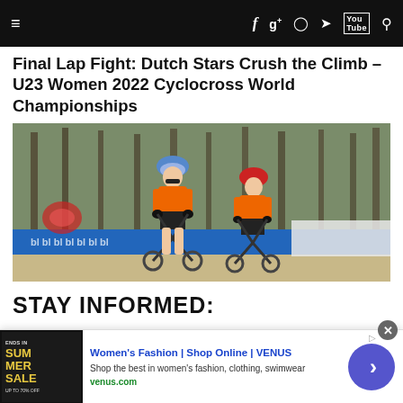≡  f  g+  ⊙  🐦  YouTube  🔍
Final Lap Fight: Dutch Stars Crush the Climb – U23 Women 2022 Cyclocross World Championships
[Figure (photo): Two cyclists in orange Dutch team jerseys riding cyclocross bikes on a course with blue sponsor banners, crowd visible in background, trees behind]
STAY INFORMED:
[Figure (screenshot): Advertisement banner for Women's Fashion | Shop Online | VENUS. Shows ad thumbnail with Summer Sale text, headline 'Women's Fashion | Shop Online | VENUS', subtext 'Shop the best in women's fashion, clothing, swimwear', URL venus.com, and a right-arrow navigation button]